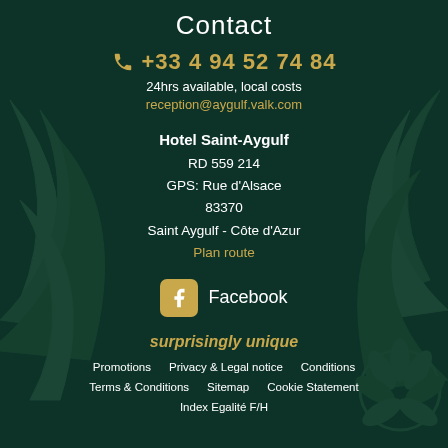Contact
+33 4 94 52 74 84
24hrs available, local costs
reception@aygulf.valk.com
Hotel Saint-Aygulf
RD 559 214
GPS: Rue d'Alsace
83370
Saint Aygulf - Côte d'Azur
Plan route
[Figure (logo): Facebook logo icon (orange/gold square with white f letter)]
Facebook
surprisingly unique
Promotions    Privacy & Legal notice    Conditions
Terms & Conditions    Sitemap    Cookie Statement
Index Egalité F/H